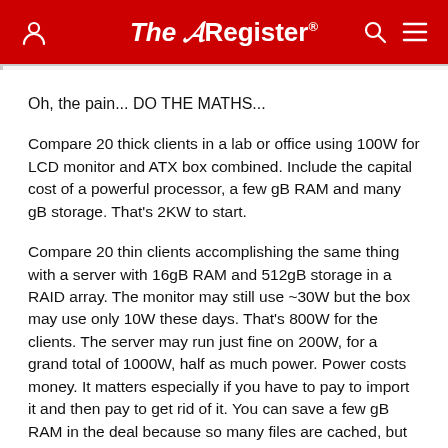The Register
Oh, the pain... DO THE MATHS...
Compare 20 thick clients in a lab or office using 100W for LCD monitor and ATX box combined. Include the capital cost of a powerful processor, a few gB RAM and many gB storage. That's 2KW to start.
Compare 20 thin clients accomplishing the same thing with a server with 16gB RAM and 512gB storage in a RAID array. The monitor may still use ~30W but the box may use only 10W these days. That's 800W for the clients. The server may run just fine on 200W, for a grand total of 1000W, half as much power. Power costs money. It matters especially if you have to pay to import it and then pay to get rid of it. You can save a few gB RAM in the deal because so many files are cached, but server-RAM may be more expensive so that's about a wash. Storage OTOH, is greatly saved because you may need only two or three hard drives instead of 20. When